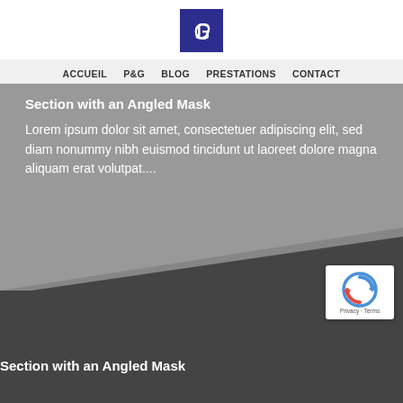[Figure (logo): Dark blue square logo with a stylized GP or CP monogram in white serif font]
ACCUEIL   P&G   BLOG   PRESTATIONS   CONTACT
Section with an Angled Mask
Lorem ipsum dolor sit amet, consectetuer adipiscing elit, sed diam nonummy nibh euismod tincidunt ut laoreet dolore magna aliquam erat volutpat....
[Figure (logo): reCAPTCHA badge with spinning arrow icon, Privacy and Terms text]
Section with an Angled Mask